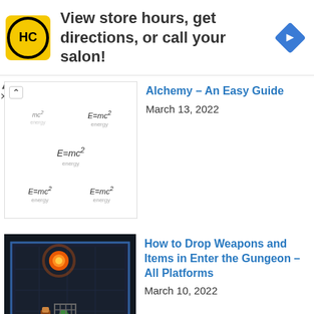[Figure (other): Advertisement banner with HC logo, text 'View store hours, get directions, or call your salon!' and a navigation diamond icon]
[Figure (other): Thumbnail image showing E=mc2 formula cards in a grid layout]
Alchemy – An Easy Guide
March 13, 2022
[Figure (screenshot): Screenshot from Enter the Gungeon game showing dark dungeon room with characters and glowing orb]
How to Drop Weapons and Items in Enter the Gungeon – All Platforms
March 10, 2022